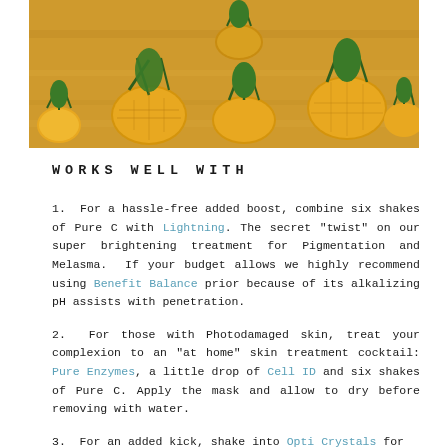[Figure (photo): Overhead photo of multiple pineapples of various sizes arranged on a light wooden surface]
WORKS WELL WITH
1. For a hassle-free added boost, combine six shakes of Pure C with Lightning. The secret "twist" on our super brightening treatment for Pigmentation and Melasma. If your budget allows we highly recommend using Benefit Balance prior because of its alkalizing pH assists with penetration.
2. For those with Photodamaged skin, treat your complexion to an "at home" skin treatment cocktail: Pure Enzymes, a little drop of Cell ID and six shakes of Pure C. Apply the mask and allow to dry before removing with water.
3. For an added kick, shake into Opti Crystals for...